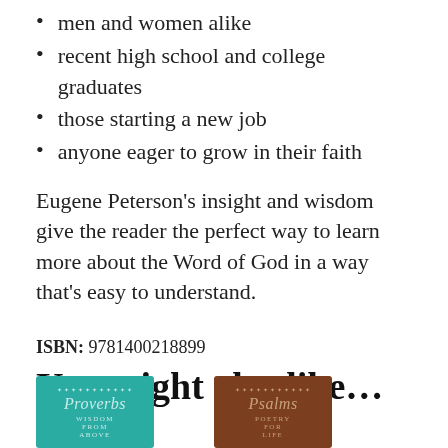men and women alike
recent high school and college graduates
those starting a new job
anyone eager to grow in their faith
Eugene Peterson’s insight and wisdom give the reader the perfect way to learn more about the Word of God in a way that’s easy to understand.
ISBN: 9781400218899
You might also like…
[Figure (photo): Book cover: Proverbs Wisdom from Above, teal/green leather cover with decorative border]
[Figure (photo): Book cover: Psalms Poetry for Life, brown leather cover with decorative border]